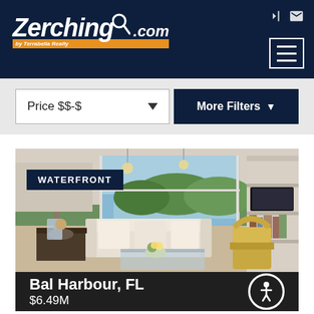Zerching by Terrabella Realty .com
Price $$-$
More Filters
[Figure (photo): Interior photo of a luxury waterfront living room with large windows, white sofas, glass coffee tables, and bookshelves with a TV]
WATERFRONT
Bal Harbour, FL
$6.49M